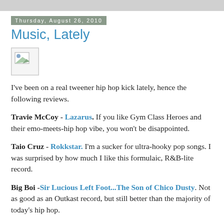Thursday, August 26, 2010
Music, Lately
[Figure (illustration): Broken image placeholder icon]
I've been on a real tweener hip hop kick lately, hence the following reviews.
Travie McCoy - Lazarus. If you like Gym Class Heroes and their emo-meets-hip hop vibe, you won't be disappointed.
Taio Cruz - Rokkstar. I'm a sucker for ultra-hooky pop songs. I was surprised by how much I like this formulaic, R&B-lite record.
Big Boi -Sir Lucious Left Foot...The Son of Chico Dusty. Not as good as an Outkast record, but still better than the majority of today's hip hop.
Gaslight Anthem - American Slang. It's punk rock with a...